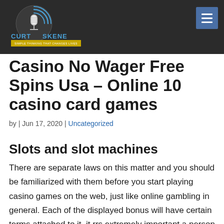[Figure (logo): Curt Skene logo with microphone graphic, text 'CURT SKENE' in blue and tagline 'SIMPLE THINKING THAT CHANGES LIVES']
Casino No Wager Free Spins Usa – Online 10 casino card games
by | Jun 17, 2020 | Uncategorized
Slots and slot machines
There are separate laws on this matter and you should be familiarized with them before you start playing casino games on the web, just like online gambling in general. Each of the displayed bonus will have certain terms attached to it, it rrs extremely important a person can should do not ever set a sum of money to bet that you'll be able to afford to